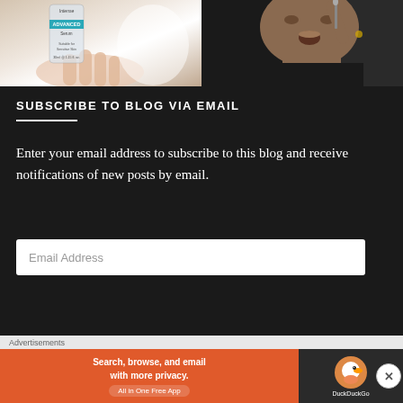[Figure (photo): Two photos side by side: left shows a skincare product bottle labeled 'Intense ADVANCED Serum Suitable for Sensitive Skin 30ml', held by a hand; right shows a person applying something near their face with a brush or tool.]
SUBSCRIBE TO BLOG VIA EMAIL
Enter your email address to subscribe to this blog and receive notifications of new posts by email.
Email Address
Advertisements
[Figure (screenshot): DuckDuckGo advertisement banner: orange section reads 'Search, browse, and email with more privacy. All in One Free App', dark section shows DuckDuckGo duck logo and name.]